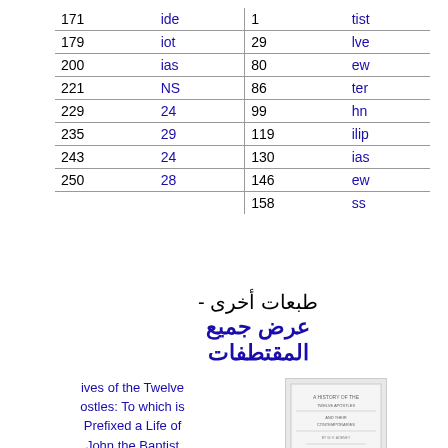| 171 | ide | 1 | tist |
| 179 | iot | 29 | lve |
| 200 | ias | 80 | ew |
| 221 | NS | 86 | ter |
| 229 | 24 | 99 | hn |
| 235 | 29 | 119 | ilip |
| 243 | 24 | 130 | ias |
| 250 | 28 | 146 | ew |
|  |  | 158 | ss |
طبعات أخرى - عرض جميع المقتطفات
ives of the Twelve ostles: To which is Prefixed a Life of John the Baptist
[Figure (photo): Book cover thumbnail]